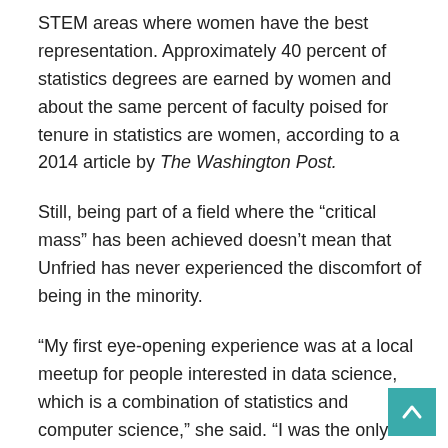STEM areas where women have the best representation. Approximately 40 percent of statistics degrees are earned by women and about the same percent of faculty poised for tenure in statistics are women, according to a 2014 article by The Washington Post.
Still, being part of a field where the “critical mass” has been achieved doesn’t mean that Unfried has never experienced the discomfort of being in the minority.
“My first eye-opening experience was at a local meetup for people interested in data science, which is a combination of statistics and computer science,” she said. “I was the only female in the 30-40 person group, and I found that I still felt out of place despite all my qualifications.”